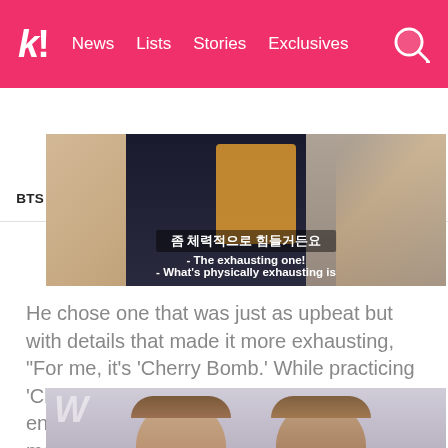k! News Lists Stories Exclusives
BTS BLACKPINK Girls' Generation TWICE SEVENTEEN
[Figure (screenshot): Video screenshot with Korean text subtitle and English translation: 'The exhausting one! / What's physically exhausting is']
He chose one that was just as upbeat but with details that made it more exhausting, “For me, it’s ‘Cherry Bomb.’ While practicing ‘Cherry Bomb’, we learned about the energetic small… A pain in the ass small movements… We had to be really strong for that.”
[Figure (photo): Two young male K-pop artists photographed against a light background, partial view]